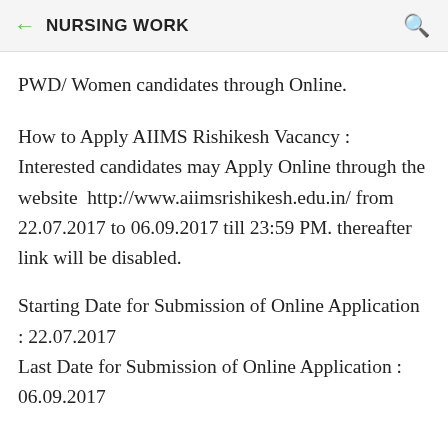NURSING WORK
PWD/ Women candidates through Online.
How to Apply AIIMS Rishikesh Vacancy : Interested candidates may Apply Online through the website  http://www.aiimsrishikesh.edu.in/ from 22.07.2017 to 06.09.2017 till 23:59 PM. thereafter link will be disabled.
Starting Date for Submission of Online Application : 22.07.2017
Last Date for Submission of Online Application : 06.09.2017